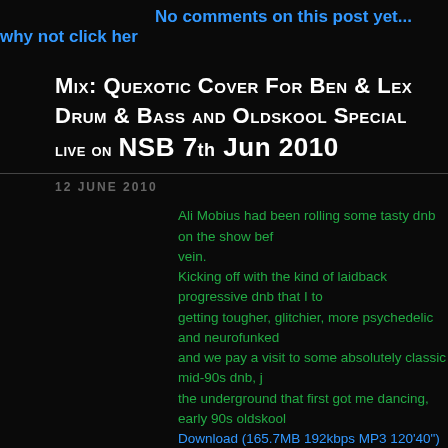No comments on this post yet... why not click her
Mix: Quexotic Cover For Ben & Lex Drum & Bass and Oldskool Special live on NSB 7th Jun 2010
12 JUNE 2010
Ali Mobius had been rolling some tasty dnb on the show before and we continued in the same vein.
Kicking off with the kind of laidback progressive dnb that I to... getting tougher, glitchier, more psychedelic and neurofunked... and we pay a visit to some absolutely classic mid-90s dnb, j... the underground that first got me dancing, early 90s oldskool...
Download (165.7MB 192kbps MP3 120'40") 1070 downloads
| # | Artist | Title |
| --- | --- | --- |
| 1 | Bass Flo | Dreamwalker |
| 2 | Seathasky | Swarm |
| 3 | Operon | Kobayashi |
| 4 | LM1 & Kharm | Duplicity |
| 5 | LM1 & Kh... | ... |